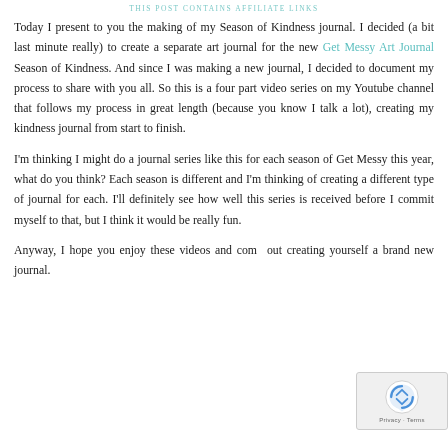THIS POST CONTAINS AFFILIATE LINKS
Today I present to you the making of my Season of Kindness journal. I decided (a bit last minute really) to create a separate art journal for the new Get Messy Art Journal Season of Kindness. And since I was making a new journal, I decided to document my process to share with you all. So this is a four part video series on my Youtube channel that follows my process in great length (because you know I talk a lot), creating my kindness journal from start to finish.
I'm thinking I might do a journal series like this for each season of Get Messy this year, what do you think? Each season is different and I'm thinking of creating a different type of journal for each. I'll definitely see how well this series is received before I commit myself to that, but I think it would be really fun.
Anyway, I hope you enjoy these videos and come out creating yourself a brand new journal.